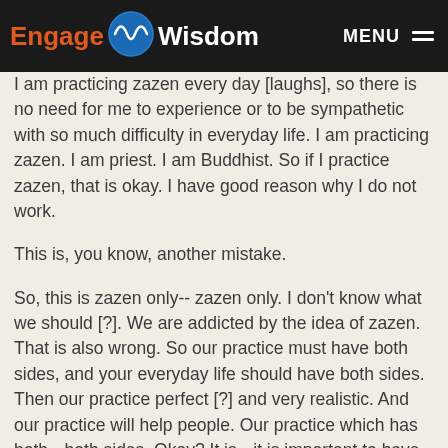Engage Wisdom | MENU
I am practicing zazen every day [laughs], so there is no need for me to experience or to be sympathetic with so much difficulty in everyday life. I am practicing zazen. I am priest. I am Buddhist. So if I practice zazen, that is okay. I have good reason why I do not work.
This is, you know, another mistake.
So, this is zazen only-- zazen only. I don't know what we should [?]. We are addicted by the idea of zazen. That is also wrong. So our practice must have both sides, and your everyday life should have both sides. Then our practice perfect [?] and very realistic. And our practice will help people. Our practice which has both-- both sides. Okay? It is-- it is important to have both sides or